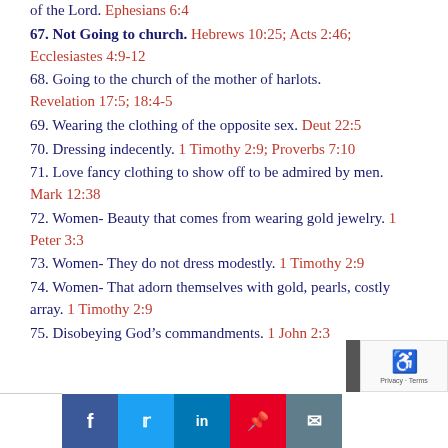of the Lord. Ephesians 6:4
67. Not Going to church. Hebrews 10:25; Acts 2:46; Ecclesiastes 4:9-12
68. Going to the church of the mother of harlots. Revelation 17:5; 18:4-5
69. Wearing the clothing of the opposite sex. Deut 22:5
70. Dressing indecently. 1 Timothy 2:9; Proverbs 7:10
71. Love fancy clothing to show off to be admired by men. Mark 12:38
72. Women- Beauty that comes from wearing gold jewelry. 1 Peter 3:3
73. Women- They do not dress modestly. 1 Timothy 2:9
74. Women- That adorn themselves with gold, pearls, costly array. 1 Timothy 2:9
75. Disobeying God’s commandments. 1 John 2:3
[Figure (other): Social sharing bar with buttons for Facebook, Twitter, LinkedIn, Pinterest, and Email; scroll-to-top button; reCAPTCHA widget]